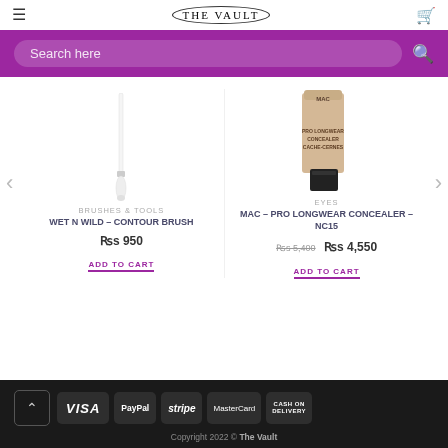THE VAULT
Search here
[Figure (photo): Wet n Wild contour brush — white long handle brush standing vertically]
BRUSHES & TOOLS
WET N WILD – CONTOUR BRUSH
Rs 950
ADD TO CART
[Figure (photo): MAC Pro Longwear Concealer NC15 — beige bottle with black cap]
EYES
MAC – PRO LONGWEAR CONCEALER – NC15
Rs 5,400  Rs 4,550
ADD TO CART
Copyright 2022 © The Vault